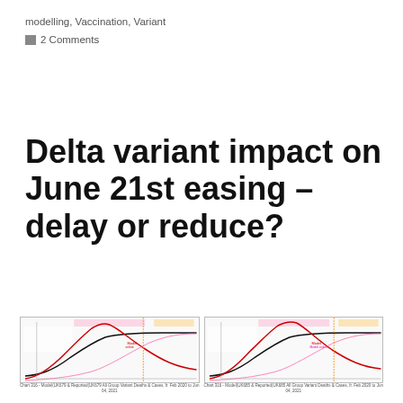modelling, Vaccination, Variant
2 Comments
Delta variant impact on June 21st easing – delay or reduce?
[Figure (continuous-plot): Epidemiological model chart showing cumulative cases, deaths, and variant curves from Feb 2020 to Jun 04 2021, with multiple colored lines including red, black, and pink curves. Chart 316 - Model(UK679 & Reported(UK679 All Group Variant Deaths & Cases, fr. Feb 2020 to Jun 04, 2021]
[Figure (continuous-plot): Epidemiological model chart showing cumulative cases, deaths, and variant curves from Feb 2020 to Jun 04 2021, with multiple colored lines including red, black, and pink curves. Chart 316 - Model(UK685 & Reported(UK685 All Group Variant Deaths & Cases, fr. Feb 2020 to Jun 04, 2021]
Chart 316 - Model(UK679 & Reported(UK679 All Group Variant Deaths & Cases, fr. Feb 2020 to Jun 04, 2021
Chart 316 - Model(UK685 & Reported(UK685 All Group Variant Deaths & Cases, fr. Feb 2020 to Jun 04, 2021